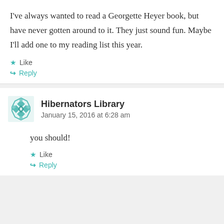I've always wanted to read a Georgette Heyer book, but have never gotten around to it. They just sound fun. Maybe I'll add one to my reading list this year.
★ Like
↪ Reply
Hibernators Library
January 15, 2016 at 6:28 am
you should!
★ Like
↪ Reply